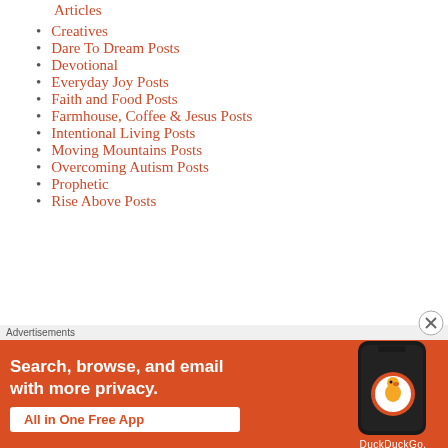Articles
Creatives
Dare To Dream Posts
Devotional
Everyday Joy Posts
Faith and Food Posts
Farmhouse, Coffee & Jesus Posts
Intentional Living Posts
Moving Mountains Posts
Overcoming Autism Posts
Prophetic
Rise Above Posts
[Figure (screenshot): DuckDuckGo advertisement banner: 'Search, browse, and email with more privacy. All in One Free App' with phone graphic and DuckDuckGo logo]